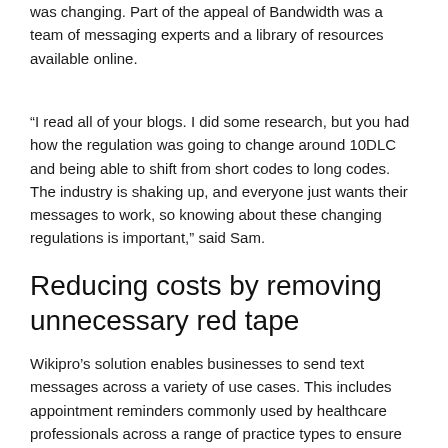was changing. Part of the appeal of Bandwidth was a team of messaging experts and a library of resources available online.
“I read all of your blogs. I did some research, but you had how the regulation was going to change around 10DLC and being able to shift from short codes to long codes. The industry is shaking up, and everyone just wants their messages to work, so knowing about these changing regulations is important,” said Sam.
Reducing costs by removing unnecessary red tape
Wikipro’s solution enables businesses to send text messages across a variety of use cases. This includes appointment reminders commonly used by healthcare professionals across a range of practice types to ensure that patients show up for scheduled appointment reminders. With missed appointments costing providers $150B...